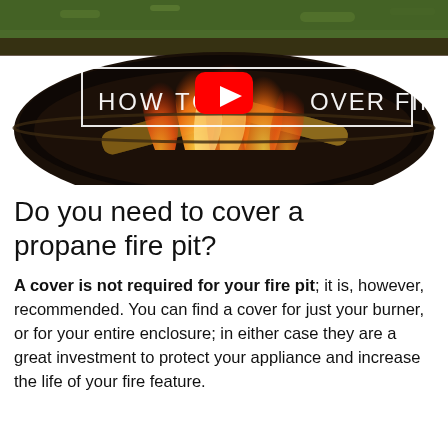[Figure (screenshot): YouTube video thumbnail showing a fire pit with burning logs and flames. A white rectangular border overlays the image with white text reading 'HOW TO C OVER FIRE' (partially obscured by a YouTube play button icon in red centered in the image).]
Do you need to cover a propane fire pit?
A cover is not required for your fire pit; it is, however, recommended. You can find a cover for just your burner, or for your entire enclosure; in either case they are a great investment to protect your appliance and increase the life of your fire feature.